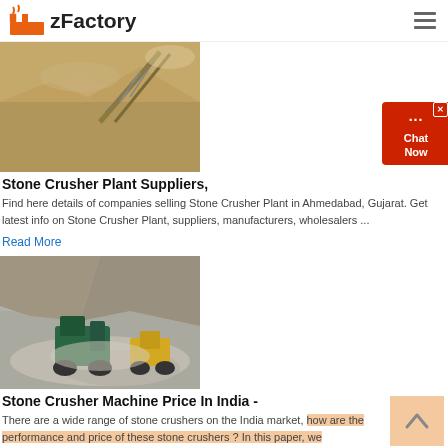zFactory
[Figure (photo): Stone crusher plant with conveyor belt and gravel piles]
Stone Crusher Plant Suppliers,
Find here details of companies selling Stone Crusher Plant in Ahmedabad, Gujarat. Get latest info on Stone Crusher Plant, suppliers, manufacturers, wholesalers ...
Read More
[Figure (photo): Mobile stone crusher machine operating in a quarry with rocks and gravel piles]
Stone Crusher Machine Price In India -
There are a wide range of stone crushers on the India market, how are the performance and price of these stone crushers ? In this paper, we